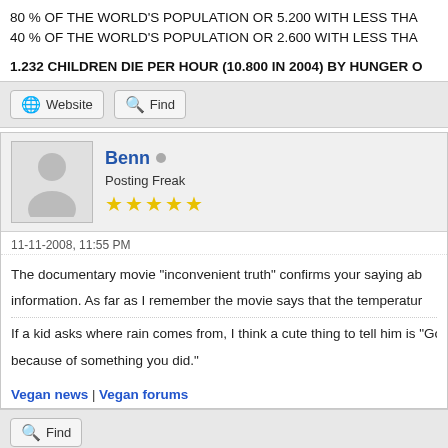80 % OF THE WORLD'S POPULATION OR 5.200 WITH LESS THA...
40 % OF THE WORLD'S POPULATION OR 2.600 WITH LESS THA...
1.232 CHILDREN DIE PER HOUR (10.800 IN 2004) BY HUNGER O...
Benn
Posting Freak
★★★★★
11-11-2008, 11:55 PM
The documentary movie "inconvenient truth" confirms your saying ab... information. As far as I remember the movie says that the temperatur...
If a kid asks where rain comes from, I think a cute thing to tell him is "God ... because of something you did."
Vegan news | Vegan forums